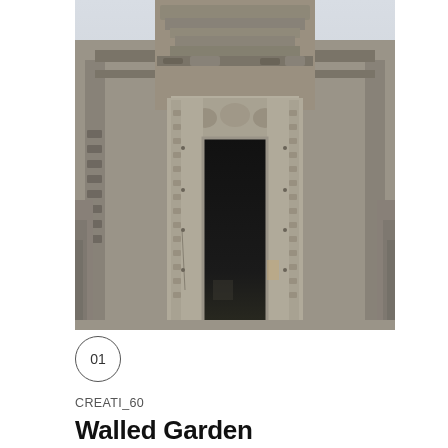[Figure (photo): Photograph of an ancient stone temple doorway with ornate carved decorations, likely Angkor Wat or similar Khmer temple in Cambodia. The doorway is framed by elaborately carved stone pillars and a lintel with mythological figures. The entrance is dark inside. Stone towers with carvings rise above.]
01
CREATI_60
Walled Garden